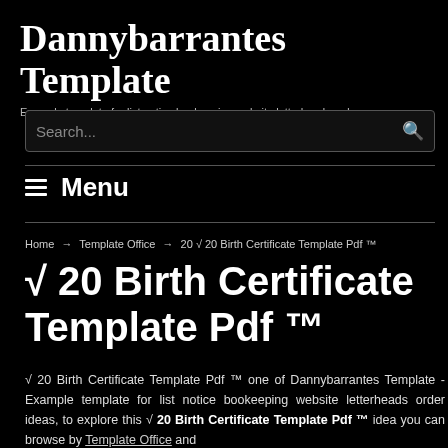Dannybarrantes Template
Example template for list notice bookeeping website letterheads orde
Search...
≡ Menu
Home → Template Office → 20 √ 20 Birth Certificate Template Pdf ™
√ 20 Birth Certificate Template Pdf ™
√ 20 Birth Certificate Template Pdf ™ one of Dannybarrantes Template - Example template for list notice bookeeping website letterheads order ideas, to explore this √ 20 Birth Certificate Template Pdf ™ idea you can browse by Template Office and